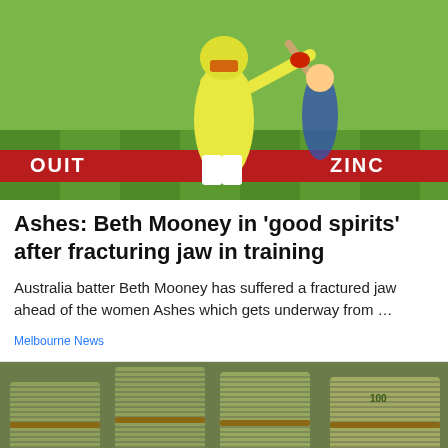[Figure (photo): Cricket player in yellow Australian uniform batting during a match, with advertising banners in the background including red and white signage]
Ashes: Beth Mooney in 'good spirits' after fracturing jaw in training
Australia batter Beth Mooney has suffered a fractured jaw ahead of the women Ashes which gets underway from …
Melbourne News
[Figure (photo): Stacks of US hundred dollar bills bundled with rubber bands, piled on top of each other filling the frame]